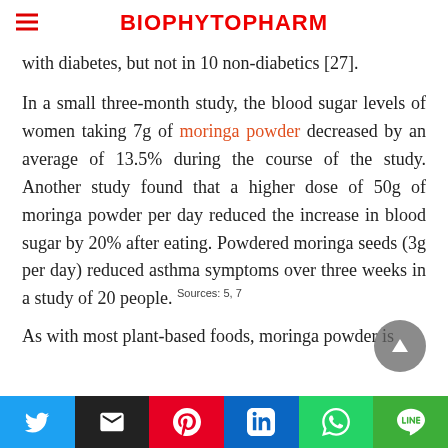BIOPHYTOPHARM
with diabetes, but not in 10 non-diabetics [27].
In a small three-month study, the blood sugar levels of women taking 7g of moringa powder decreased by an average of 13.5% during the course of the study. Another study found that a higher dose of 50g of moringa powder per day reduced the increase in blood sugar by 20% after eating. Powdered moringa seeds (3g per day) reduced asthma symptoms over three weeks in a study of 20 people. Sources: 5, 7
As with most plant-based foods, moringa powder is